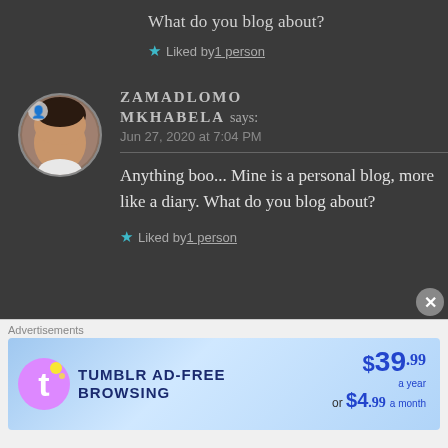What do you blog about?
★ Liked by 1 person
[Figure (photo): Circular profile photo of Zamadlomo Mkhabela, a young woman]
ZAMADLOMO MKHABELA says:
Jun 27, 2020 at 7:04 PM
Anything boo... Mine is a personal blog, more like a diary. What do you blog about?
★ Liked by 1 person
Advertisements
[Figure (infographic): Tumblr Ad-Free Browsing advertisement banner: $39.99 a year or $4.99 a month]